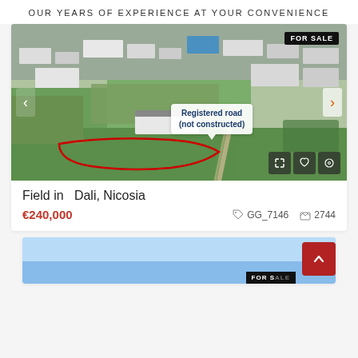OUR YEARS OF EXPERIENCE AT YOUR CONVENIENCE
[Figure (photo): Aerial drone photo of an industrial/agricultural area in Dali, Nicosia with a red outline marking a field plot for sale. Overlay text reads 'Registered road (not constructed)'. Badge reads 'FOR SALE'.]
Field in  Dali, Nicosia
€240,000
GG_7146   2744
[Figure (photo): Partial view of a second property listing showing a blue sky background with FOR SALE badge visible.]